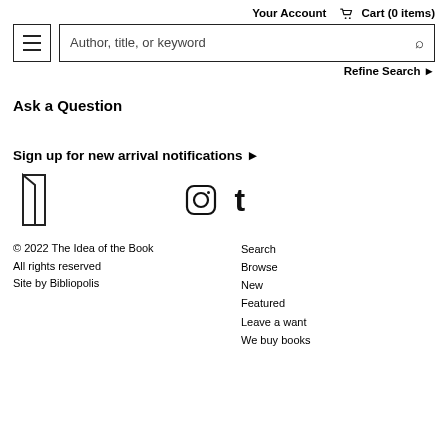Your Account   Cart (0 items)
[Figure (screenshot): Search bar with hamburger menu icon on the left, placeholder text 'Author, title, or keyword', and a search magnifier icon on the right. Below is a 'Refine Search ▶' link.]
Ask a Question
Sign up for new arrival notifications ▶
[Figure (logo): Book/page logo icon (open book outline) on the left; Instagram and Tumblr social media icons on the right]
© 2022 The Idea of the Book
All rights reserved
Site by Bibliopolis

Search
Browse
New
Featured
Leave a want
We buy books